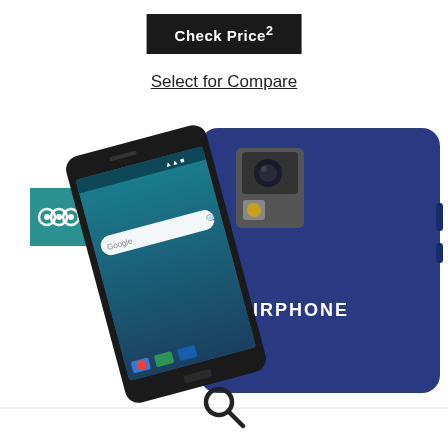Check Price²
Select for Compare
[Figure (screenshot): Fairphone smartphone shown from front (dark frame with Android interface) and back (blue case with FAIRPHONE branding and camera module). A LineageOS icon (teal square with three circles symbol) appears in the upper left of the phone image area.]
[Figure (other): Search magnifying glass icon at the bottom of the page]